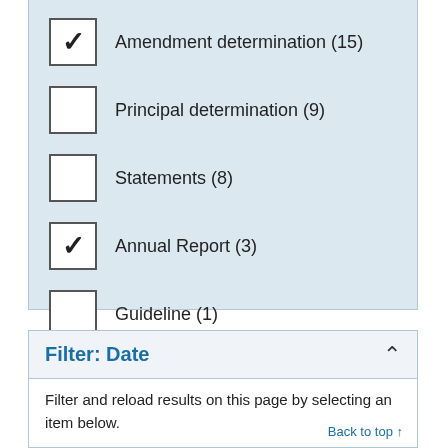Amendment determination (15) [checked]
Principal determination (9) [unchecked]
Statements (8) [unchecked]
Annual Report (3) [checked]
Guideline (1) [unchecked]
Filter: Date
Filter and reload results on this page by selecting an item below.
Back to top ↑